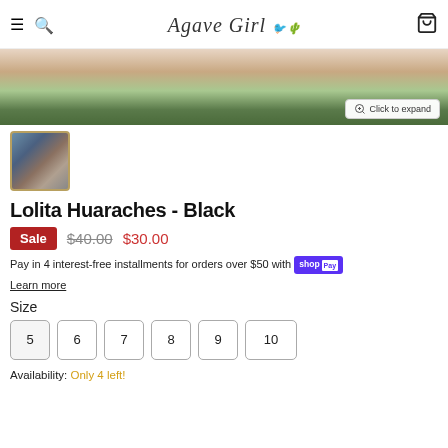Agave Girl — navigation header with hamburger menu, search icon, brand logo, cart icon
[Figure (photo): Product photo of Lolita Huaraches shoes in black, partially visible with plants in background. Has 'Click to expand' button overlay.]
[Figure (photo): Thumbnail of Lolita Huaraches black shoes, person holding two sandals]
Lolita Huaraches - Black
Sale $40.00 $30.00
Pay in 4 interest-free installments for orders over $50 with Shop Pay
Learn more
Size
5 6 7 8 9 10
Availability: Only 4 left!